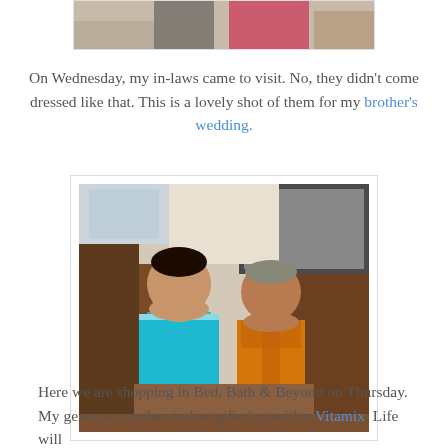[Figure (photo): Partial top photo showing people, cropped at top of page]
On Wednesday, my in-laws came to visit. No, they didn't come dressed like that. This is a lovely shot of them for my brother's wedding.
[Figure (photo): Photo of an older South Asian couple dressed in traditional Indian wedding attire — woman in blue sari, man in orange sherwani — seated indoors]
Here we are shopping in Bed, Bath & Beyond on Thursday. My generous mother-in-law gifted us with a Vitamix. Life will